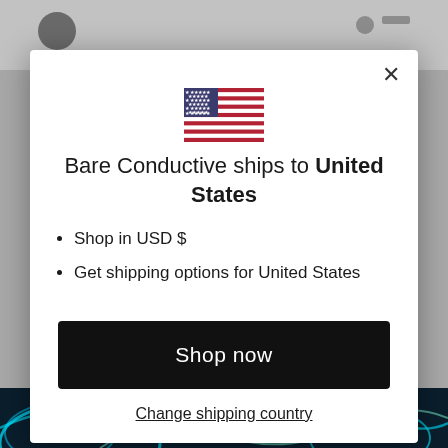[Figure (other): Background: grey website page with neon art image at bottom]
[Figure (illustration): United States flag emoji/icon]
Bare Conductive ships to United States
Shop in USD $
Get shipping options for United States
Shop now
Change shipping country